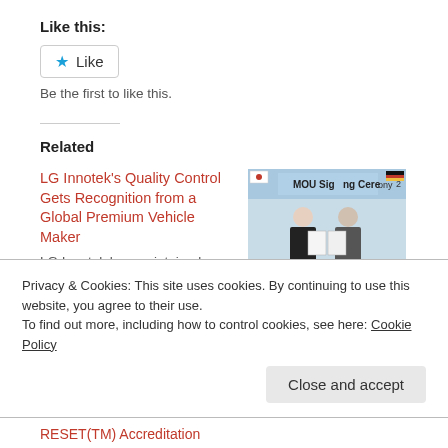Like this:
Like
Be the first to like this.
Related
LG Innotek's Quality Control Gets Recognition from a Global Premium Vehicle Maker
LG Innotek has maintained Jaguar Land Rover Quality Certification
[Figure (photo): MOU Signing Ceremony photo showing two people holding signed documents with Korean and German flags on a table]
DEKRA signed MoU with Korea Testing Laboratory to enhance cooperation
Privacy & Cookies: This site uses cookies. By continuing to use this website, you agree to their use.
To find out more, including how to control cookies, see here: Cookie Policy
Close and accept
RESET(TM) Accreditation